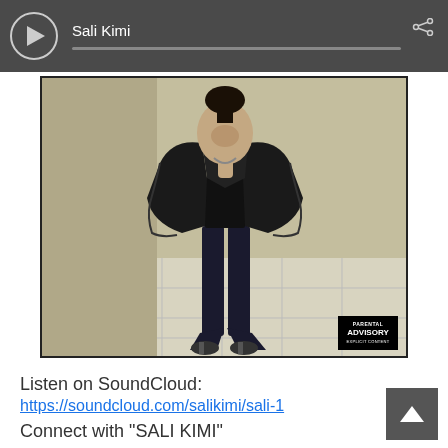[Figure (screenshot): Music player bar with play button, track name 'Sali Kimi', progress bar, and share icon on dark gray background]
[Figure (photo): Album art photo of a woman in a black fur coat, black crop top, and black flare pants standing on tiled floor. Parental Advisory label in bottom right corner.]
Listen on SoundCloud:
https://soundcloud.com/salikimi/sali-1
Connect with "SALI KIMI"